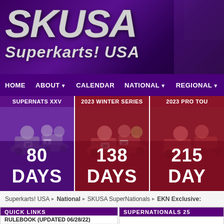[Figure (screenshot): SKUSA Superkarts! USA website header banner with purple/dark gradient background and large SKUSA logo text]
HOME  ABOUT  CALENDAR  NATIONAL  REGIONAL  RESULTS
[Figure (photo): Supernats XXV event card with grayscale kart racing photo and '80 DAYS' countdown on purple background]
[Figure (photo): 2023 Winter Series event card with red-tinted kart racing photo and '138 DAYS' countdown on crimson background]
[Figure (photo): 2023 Pro Tour event card with red-tinted kart racing photo and '215 DAYS' countdown on crimson background]
Superkarts! USA ▸ National ▸ SKUSA SuperNationals ▸ EKN Exclusive:
QUICK LINKS
RULEBOOK (UPDATED 06/28/22)
2022 MEMBERSHIP
SUPERNATIONALS 25